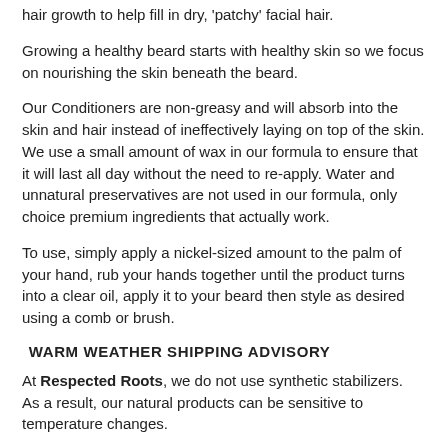hair growth to help fill in dry, 'patchy' facial hair.
Growing a healthy beard starts with healthy skin so we focus on nourishing the skin beneath the beard.
Our Conditioners are non-greasy and will absorb into the skin and hair instead of ineffectively laying on top of the skin. We use a small amount of wax in our formula to ensure that it will last all day without the need to re-apply. Water and unnatural preservatives are not used in our formula, only choice premium ingredients that actually work.
To use, simply apply a nickel-sized amount to the palm of your hand, rub your hands together until the product turns into a clear oil, apply it to your beard then style as desired using a comb or brush.
WARM WEATHER SHIPPING ADVISORY
At Respected Roots, we do not use synthetic stabilizers. As a result, our natural products can be sensitive to temperature changes.